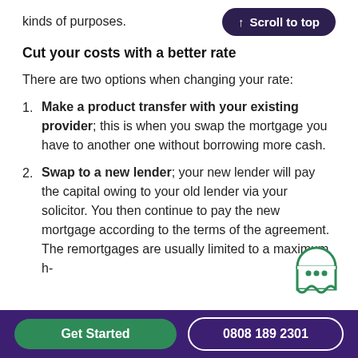kinds of purposes.
Cut your costs with a better rate
There are two options when changing your rate:
Make a product transfer with your existing provider; this is when you swap the mortgage you have to another one without borrowing more cash.
Swap to a new lender; your new lender will pay the capital owing to your old lender via your solicitor. You then continue to pay the new mortgage according to the terms of the agreement. The remortgages are usually limited to a maximum h-
Get Started  0808 189 2301